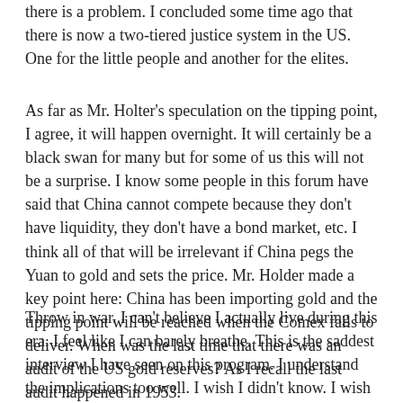there is a problem. I concluded some time ago that there is now a two-tiered justice system in the US. One for the little people and another for the elites.
As far as Mr. Holter's speculation on the tipping point, I agree, it will happen overnight. It will certainly be a black swan for many but for some of us this will not be a surprise. I know some people in this forum have said that China cannot compete because they don't have liquidity, they don't have a bond market, etc. I think all of that will be irrelevant if China pegs the Yuan to gold and sets the price. Mr. Holder made a key point here: China has been importing gold and the tipping point will be reached when the Comex fails to deliver. When was the last time that there was an audit of the US gold reserves? As I recall the last audit happened in 1953.
Throw in war. I can't believe I actually live during this era. I feel like I can barely breathe. This is the saddest interview I have seen on this program. I understand the implications too well. I wish I didn't know. I wish I didn't understand the implications. Ignorance is bliss. But knowledge can be the cruelest form of wisdom.